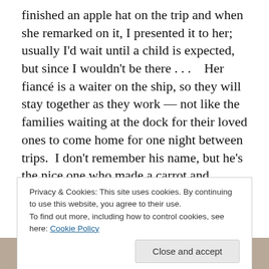finished an apple hat on the trip and when she remarked on it, I presented it to her; usually I'd wait until a child is expected, but since I wouldn't be there . . .    Her fiancé is a waiter on the ship, so they will stay together as they work — not like the families waiting at the dock for their loved ones to come home for one night between trips.  I don't remember his name, but he's the nice one who made a carrot and cabbage (no potatoes) soup especially for me.  Meals, by the way, were good, but food was less a focus than on other cruises — a healthier balance, I think.  When we docked back in Porto, we noticed people waiting
Privacy & Cookies: This site uses cookies. By continuing to use this website, you agree to their use.
To find out more, including how to control cookies, see here: Cookie Policy
[Figure (photo): Partial photo visible at bottom of page, showing a person wearing a knitted or crocheted item]